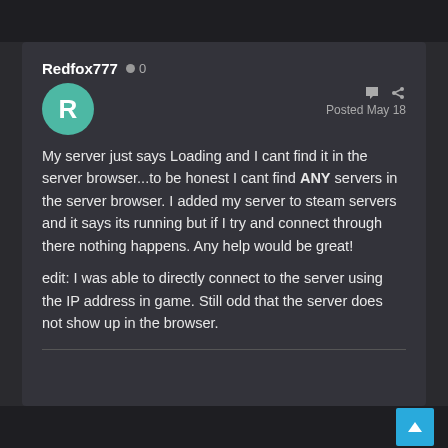Redfox777  0
Posted May 18
My server just says Loading and I cant find it in the server browser...to be honest I cant find ANY servers in the server browser. I added my server to steam servers and it says its running but if I try and connect through there nothing happens. Any help would be great!
edit: I was able to directly connect to the server using the IP address in game. Still odd that the server does not show up in the browser.